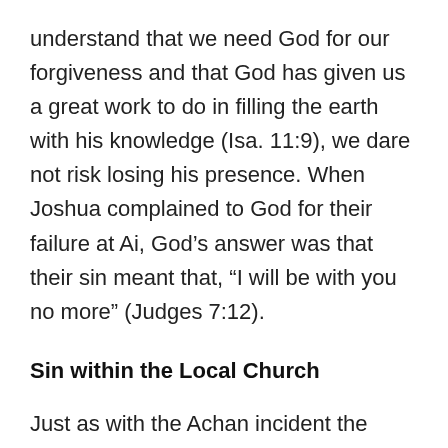understand that we need God for our forgiveness and that God has given us a great work to do in filling the earth with his knowledge (Isa. 11:9), we dare not risk losing his presence. When Joshua complained to God for their failure at Ai, God's answer was that their sin meant that, “I will be with you no more” (Judges 7:12).
Sin within the Local Church
Just as with the Achan incident the local church has similar challenges. It is not uncommon for some to coverup or enable a fellow Christian who is in sin. This is especially true for family members who do not want to feel what seems to them an embarrassment or to have to endure the repercussions of an angry exposed